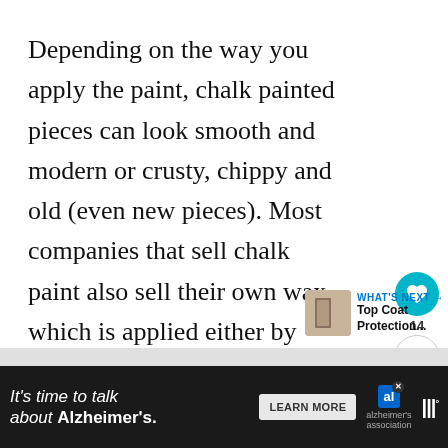Depending on the way you apply the paint, chalk painted pieces can look smooth and modern or crusty, chippy and old (even new pieces). Most companies that sell chalk paint also sell their own wax, which is applied either by brush or with a cloth. The wax is rubbed onto the surface and then buffed off and it basically seals the paint and provides a protective coating and hand-rubbed look. Very early-American.
[Figure (screenshot): UI overlay with heart button (teal circle), share count 14, and share icon button]
[Figure (screenshot): What's Next widget showing Top Coat Protection... with thumbnail image and arrow]
[Figure (screenshot): Advertisement banner: It's time to talk about Alzheimer's. LEARN MORE button, Alzheimer's Association logo, and Meter logo]